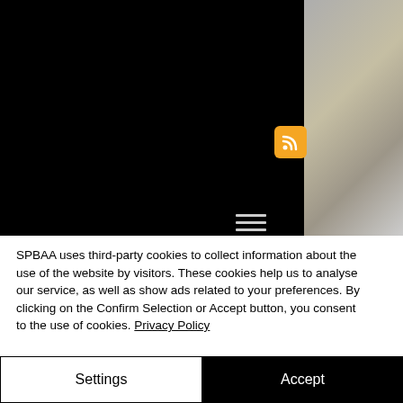[Figure (screenshot): Black website header area with an orange RSS feed icon and a hamburger menu icon in white/gray. Right side shows a blurred content area.]
SPBAA uses third-party cookies to collect information about the use of the website by visitors. These cookies help us to analyse our service, as well as show ads related to your preferences. By clicking on the Confirm Selection or Accept button, you consent to the use of cookies. Privacy Policy
Settings
Accept